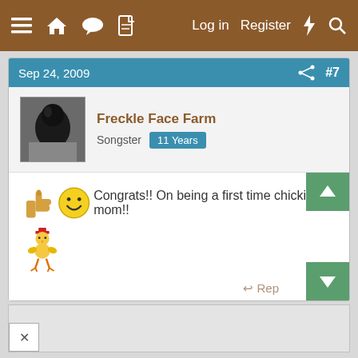≡ 🏠 💬 📄   Log in   Register   ⚡   🔍
Sep 24, 2009   #7
Freckle Face Farm
Songster  11 Years
Congrats!! On being a first time chickie mom!!
↩ Reply